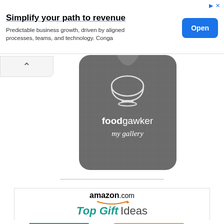[Figure (screenshot): Advertisement banner: 'Simplify your path to revenue' with subtext 'Predictable business growth, driven by aligned processes, teams, and technology. Conga' and blue Open button]
[Figure (logo): Foodgawker 'my gallery' badge - dark grey bib/apron shaped image with bowl icon and text 'foodgawker my gallery']
[Figure (screenshot): Amazon.com Top Gift Ideas advertisement banner showing power tools (drills) including a DeWalt drill]